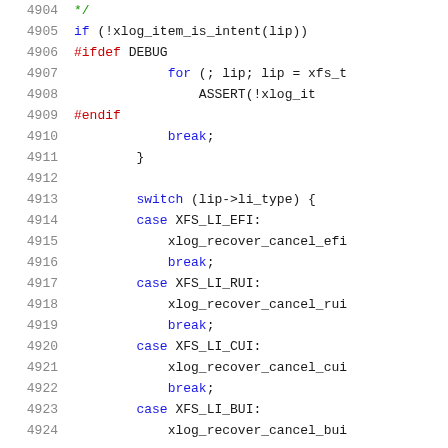[Figure (screenshot): Source code listing showing lines 4904-4924 of a C/XFS kernel file with line numbers on the left and syntax-highlighted code on the right. Keywords are colored blue, preprocessor directives red, and certain identifiers in other colors.]